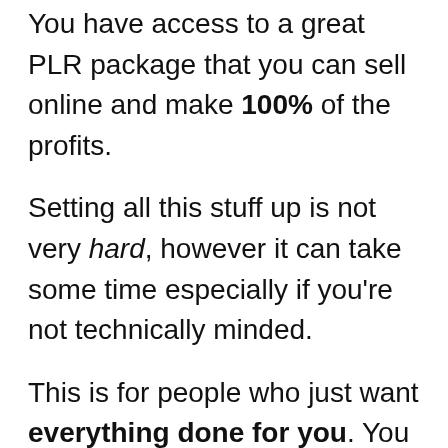You have access to a great PLR package that you can sell online and make 100% of the profits.
Setting all this stuff up is not very hard, however it can take some time especially if you're not technically minded.
This is for people who just want everything done for you. You want all this stuff set up online ready to start making sales!
If you want to save a bunch of time and